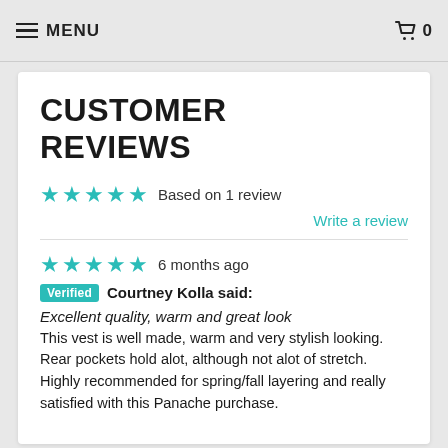MENU  🛒 0
CUSTOMER REVIEWS
★★★★★  Based on 1 review
Write a review
★★★★★  6 months ago
Verified  Courtney Kolla said:
Excellent quality, warm and great look
This vest is well made, warm and very stylish looking. Rear pockets hold alot, although not alot of stretch. Highly recommended for spring/fall layering and really satisfied with this Panache purchase.